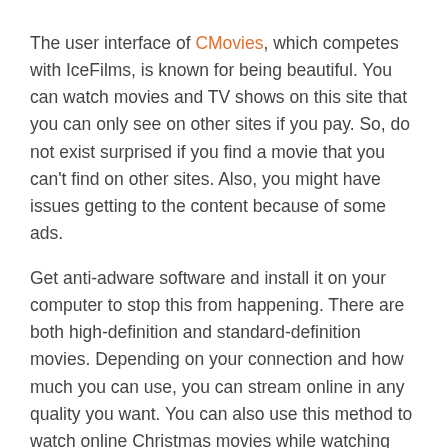The user interface of CMovies, which competes with IceFilms, is known for being beautiful. You can watch movies and TV shows on this site that you can only see on other sites if you pay. So, do not exist surprised if you find a movie that you can't find on other sites. Also, you might have issues getting to the content because of some ads.
Get anti-adware software and install it on your computer to stop this from happening. There are both high-definition and standard-definition movies. Depending on your connection and how much you can use, you can stream online in any quality you want. You can also use this method to watch online Christmas movies while watching them. We think that CMovies is one of the best sites like IceFilms.